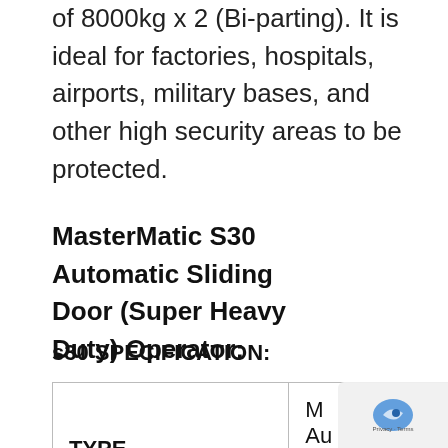of 8000kg x 2 (Bi-parting). It is ideal for factories, hospitals, airports, military bases, and other high security areas to be protected.
MasterMatic S30 Automatic Sliding Door (Super Heavy Duty) Operator:
s30 SPECIFICATION:
| TYPE | MasterMatic Automatic Door Operator Di... |
| --- | --- |